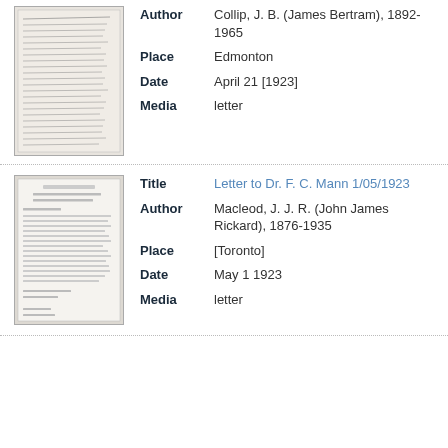[Figure (photo): Thumbnail of handwritten letter document]
Author: Collip, J. B. (James Bertram), 1892-1965
Place: Edmonton
Date: April 21 [1923]
Media: letter
[Figure (photo): Thumbnail of typewritten letter document]
Title: Letter to Dr. F. C. Mann 1/05/1923
Author: Macleod, J. J. R. (John James Rickard), 1876-1935
Place: [Toronto]
Date: May 1 1923
Media: letter